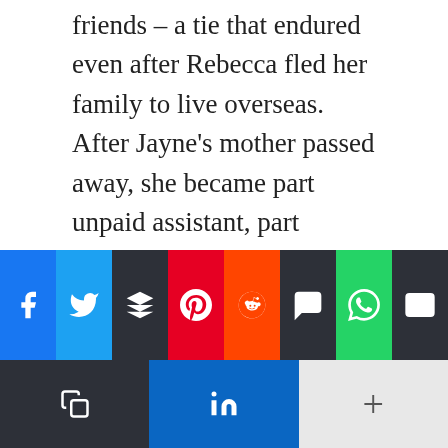friends – a tie that endured even after Rebecca fled her family to live overseas. After Jayne's mother passed away, she became part unpaid assistant, part surrogate daughter to the wealthy Wardens. But now ten years later, Rebecca is coming home to LA to cause havoc for the mother who all but rejected her. And Jayne finds herself pulled deeper into the Wordens' complicated family dynamics – especially when Rebecca's brother returns.
[Figure (infographic): Social media share buttons bar with two rows: Row 1 contains Facebook (blue), Twitter (light blue), Buffer (dark), Pinterest (red), Reddit (orange), SMS (dark), WhatsApp (green), Email (dark). Row 2 contains Copy (dark), LinkedIn (blue), More (light grey with plus sign).]